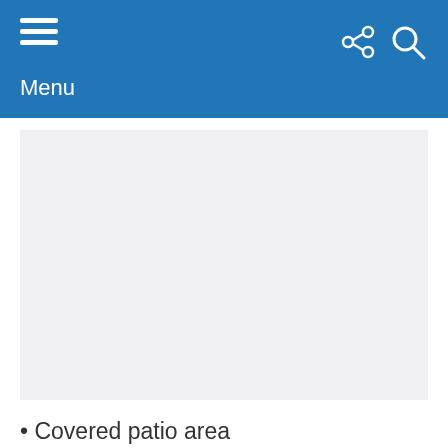Menu
[Figure (photo): Light grey rectangular image placeholder area]
Covered patio area
Extra storage space
Solar panels base